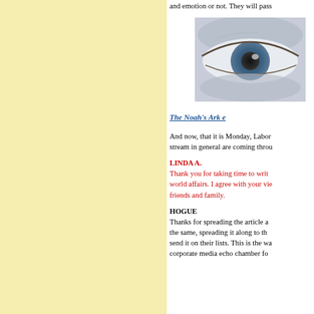and emotion or not. They will pass
[Figure (photo): Close-up photo of a human eye rendered in blue/grey tones]
The Noah's Ark e
And now, that it is Monday, Labor stream in general are coming throu
LINDA A.
Thank you for taking time to writ world affairs. I agree with your vie friends and family.
HOGUE
Thanks for spreading the article a the same, spreading it along to th send it on their lists. This is the wa corporate media echo chamber fo